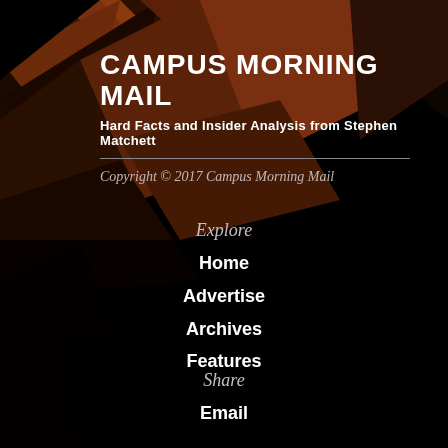[Figure (illustration): Dark geometric polygon background with brown/orange and black triangular shapes in the upper-left corner of the page]
CAMPUS MORNING MAIL
Hard Facts and Insider Analysis from Stephen Matchett
Copyright © 2017 Campus Morning Mail
Explore
Home
Advertise
Archives
Features
Share
Email